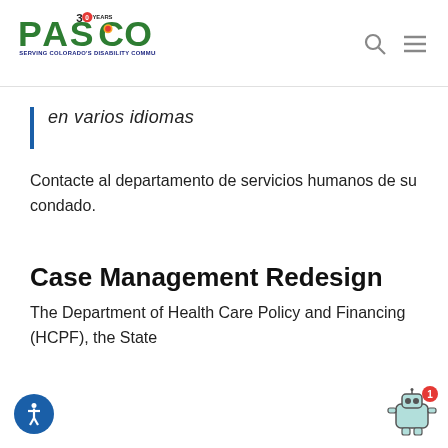[Figure (logo): PASCO logo with '30 YEARS' badge and tagline 'SERVING COLORADO'S DISABILITY COMMUNITY']
en varios idiomas
Contacte al departamento de servicios humanos de su condado.
Case Management Redesign
The Department of Health Care Policy and Financing (HCPF), the State